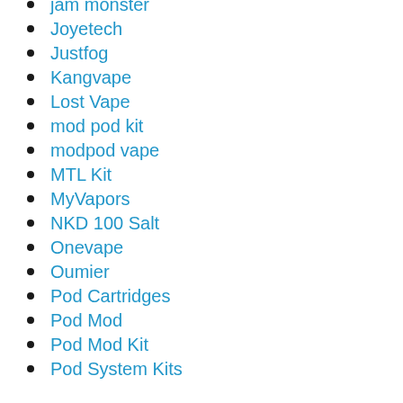jam monster
Joyetech
Justfog
Kangvape
Lost Vape
mod pod kit
modpod vape
MTL Kit
MyVapors
NKD 100 Salt
Onevape
Oumier
Pod Cartridges
Pod Mod
Pod Mod Kit
Pod System Kits